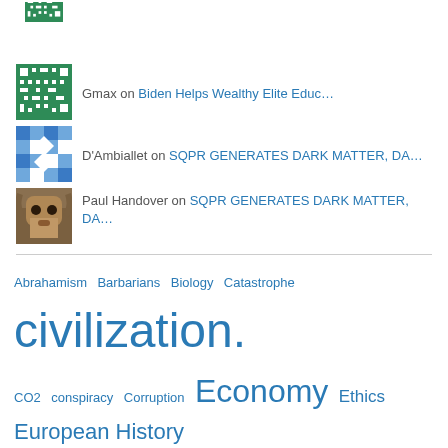Gmax on Biden Helps Wealthy Elite Educ…
D'Ambiallet on SQPR GENERATES DARK MATTER, DA…
Paul Handover on SQPR GENERATES DARK MATTER, DA…
Abrahamism Barbarians Biology Catastrophe civilization. CO2 conspiracy Corruption Economy Ethics European History Finance Foundations Of Physics history Neurology philosophy Plutocracy Plutocratic sycophants politics Psychology superstition Systems Of Mind Systems Of Moods Systems Of Thought